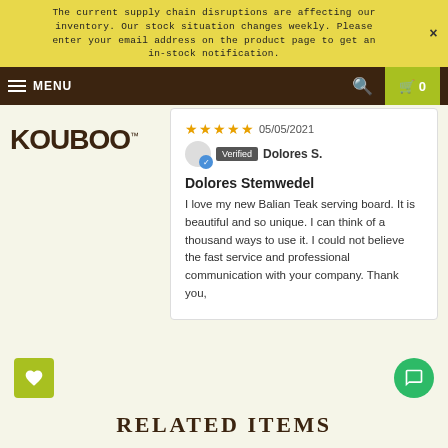The current supply chain disruptions are affecting our inventory. Our stock situation changes weekly. Please enter your email address on the product page to get an in-stock notification.
MENU  🔍  🛒 0
[Figure (logo): KOUBOO brand logo with TM mark]
★★★★★ 05/05/2021 Verified Dolores S.
Dolores Stemwedel
I love my new Balian Teak serving board. It is beautiful and so unique. I can think of a thousand ways to use it. I could not believe the fast service and professional communication with your company. Thank you,
RELATED ITEMS